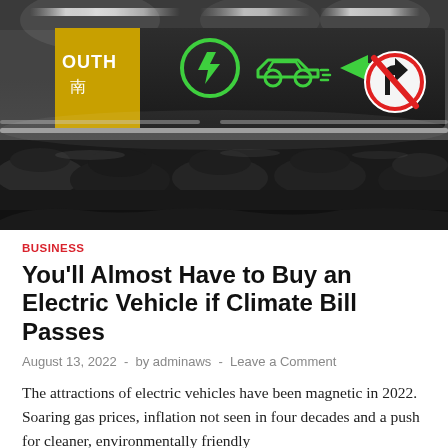[Figure (photo): Parking garage interior showing overhead signage with green electric vehicle charging symbol and arrow, 'SOUTH 南' text on yellow sign, and a red circle no-right-turn sign. Cars parked below under fluorescent lighting.]
BUSINESS
You'll Almost Have to Buy an Electric Vehicle if Climate Bill Passes
August 13, 2022  -  by adminaws  -  Leave a Comment
The attractions of electric vehicles have been magnetic in 2022. Soaring gas prices, inflation not seen in four decades and a push for cleaner, environmentally friendly